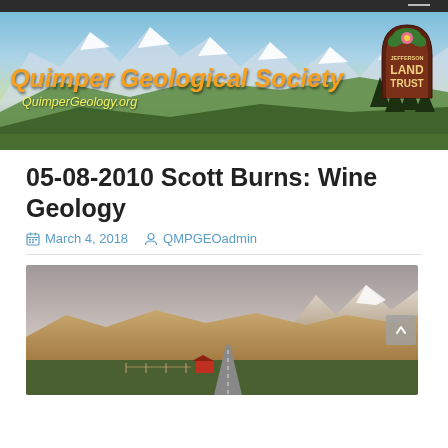[Figure (photo): Quimper Geological Society banner with mountain landscape background, orange italic title text 'Quimper Geological Society', yellow italic URL 'QuimperGeology.org', and Jefferson Land Trust circular badge on the right]
05-08-2010 Scott Burns: Wine Geology
March 4, 2018   QMPGEOadmin
[Figure (photo): Landscape photograph showing rolling hills with snow-capped mountains in the background under an overcast sky, with a road and red-roofed barn visible]